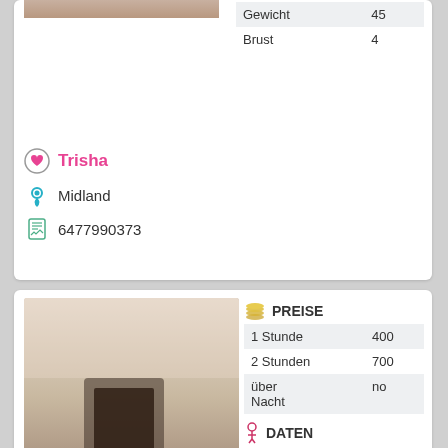[Figure (photo): Partial photo of person at top of page (cropped)]
|  |  |
| --- | --- |
| Gewicht | 45 |
| Brust | 4 |
Trisha
Midland
6477990373
[Figure (photo): Photo of woman standing in white lingerie next to a fireplace]
| PREISE |  |
| --- | --- |
| 1 Stunde | 400 |
| 2 Stunden | 700 |
| über Nacht | no |
| DATEN |  |
| --- | --- |
| Alter | 22 |
| Größe | 170 |
| Gewicht | 56 |
| Brust | 3 |
Toronto Escorts Tatiana
North York Centre
16479279996